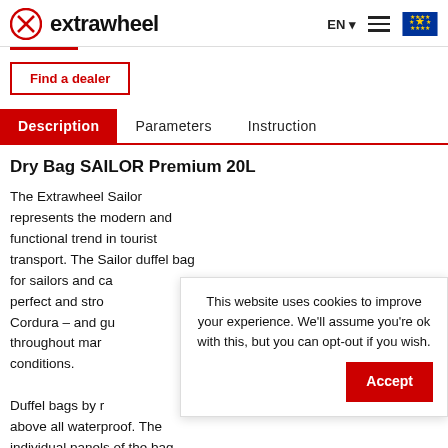extrawheel EN
Find a dealer
Description  Parameters  Instruction
Dry Bag SAILOR Premium 20L
The Extrawheel Sailor represents the modern and functional trend in tourist transport. The Sailor duffel bag for sailors and ca perfect and stro Cordura – and gu throughout ma conditions.
This website uses cookies to improve your experience. We'll assume you're ok with this, but you can opt-out if you wish. Accept
Duffel bags by r above all waterproof. The individual panels of the bag